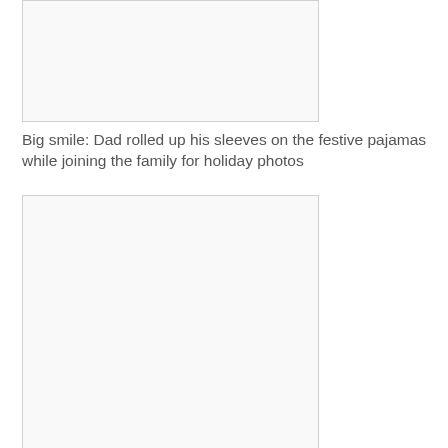[Figure (photo): Top photo placeholder, partially visible at top of page]
Big smile: Dad rolled up his sleeves on the festive pajamas while joining the family for holiday photos
[Figure (photo): Bottom photo placeholder, large image area]